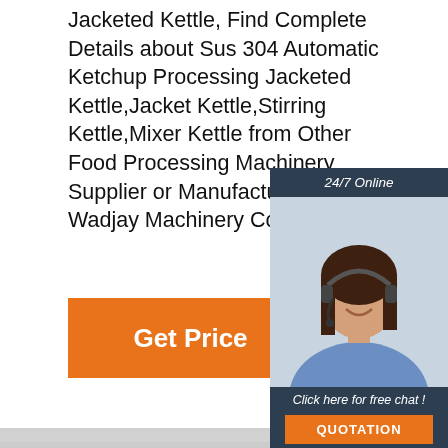Jacketed Kettle, Find Complete Details about Sus 304 Automatic Ketchup Processing Jacketed Kettle,Jacket Kettle,Stirring Kettle,Mixer Kettle from Other Food Processing Machinery Supplier or Manufacturer-H Wadjay Machinery Co., Ltd.
Get Price
[Figure (photo): Customer service representative woman with headset, 24/7 Online chat widget with QUOTATION button]
[Figure (photo): Stainless steel jacketed kettle/wok cooking equipment, with TOP badge in bottom right corner]